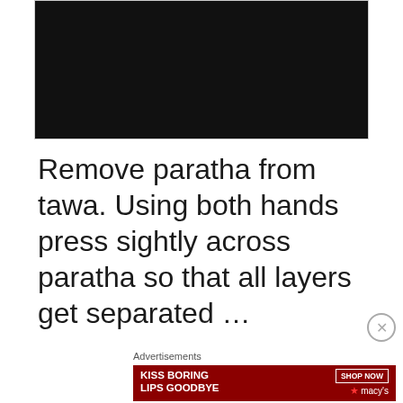[Figure (photo): Dark/black background photo area, partially visible at top of page]
Remove paratha from tawa. Using both hands press sightly across paratha so that all layers get separated ...
Advertisements
[Figure (photo): Macy's advertisement banner: KISS BORING LIPS GOODBYE with woman's face, red lips, SHOP NOW button and Macy's star logo]